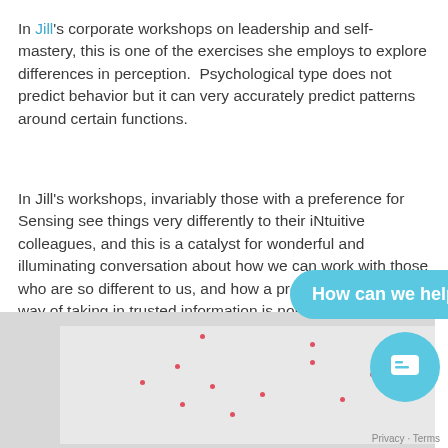In Jill's corporate workshops on leadership and self-mastery, this is one of the exercises she employs to explore differences in perception.  Psychological type does not predict behavior but it can very accurately predict patterns around certain functions.
In Jill's workshops, invariably those with a preference for Sensing see things very differently to their iNtuitive colleagues, and this is a catalyst for wonderful and illuminating conversation about how we can work with those who are so different to us, and how a preference for one way of taking in trusted information is not superior or better than the other.
[Figure (screenshot): Chat widget showing 'How can we help?' bubble in teal/cyan color with a circular chat icon button below it, overlaid on a partial view of a white paper/image with scattered red dots.]